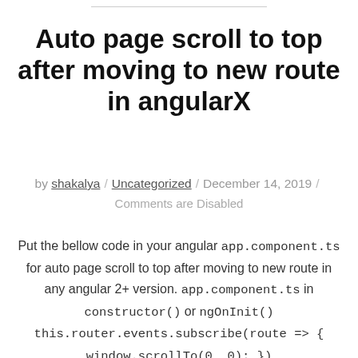Auto page scroll to top after moving to new route in angularX
by shakalya / Uncategorized / December 14, 2019 / Comments are Disabled
Put the bellow code in your angular app.component.ts for auto page scroll to top after moving to new route in any angular 2+ version. app.component.ts in constructor() or ngOnInit() this.router.events.subscribe(route => { window.scrollTo(0, 0); })